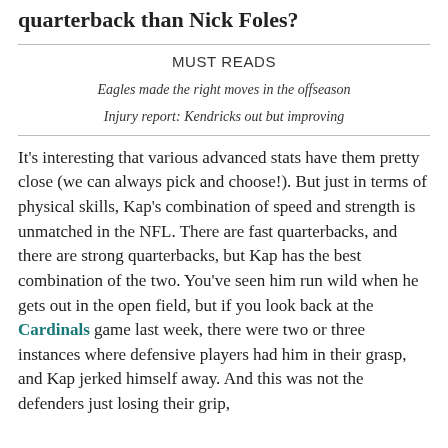quarterback than Nick Foles?
MUST READS
Eagles made the right moves in the offseason
Injury report: Kendricks out but improving
It's interesting that various advanced stats have them pretty close (we can always pick and choose!). But just in terms of physical skills, Kap's combination of speed and strength is unmatched in the NFL. There are fast quarterbacks, and there are strong quarterbacks, but Kap has the best combination of the two. You've seen him run wild when he gets out in the open field, but if you look back at the Cardinals game last week, there were two or three instances where defensive players had him in their grasp, and Kap jerked himself away. And this was not the defenders just losing their grip,